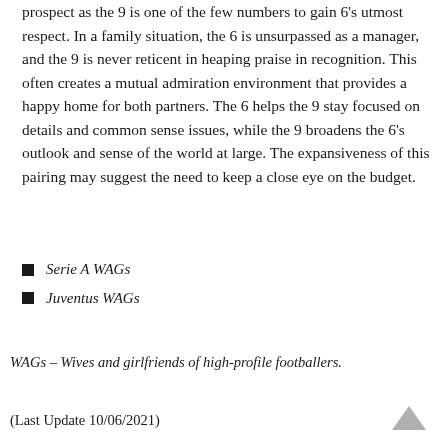prospect as the 9 is one of the few numbers to gain 6's utmost respect. In a family situation, the 6 is unsurpassed as a manager, and the 9 is never reticent in heaping praise in recognition. This often creates a mutual admiration environment that provides a happy home for both partners. The 6 helps the 9 stay focused on details and common sense issues, while the 9 broadens the 6's outlook and sense of the world at large. The expansiveness of this pairing may suggest the need to keep a close eye on the budget.
Serie A WAGs
Juventus WAGs
WAGs – Wives and girlfriends of high-profile footballers.
(Last Update 10/06/2021)